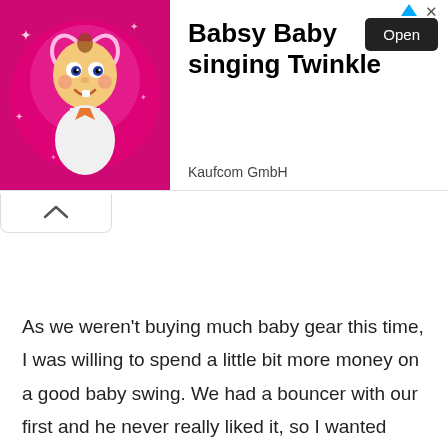[Figure (screenshot): Advertisement banner for Babsy Baby singing Twinkle app by Kaufcom GmbH, featuring a cartoon baby with a heart halo on a pink sparkle background, with an Open button.]
As we weren't buying much baby gear this time, I was willing to spend a little bit more money on a good baby swing. We had a bouncer with our first and he never really liked it, so I wanted something that could